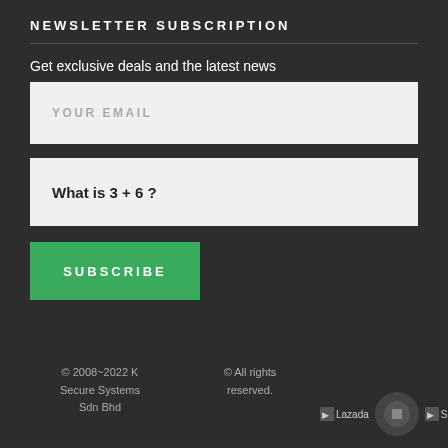NEWSLETTER SUBSCRIPTION
Get exclusive deals and the latest news
YOUR EMAIL
What is 3 + 6 ?
SUBSCRIBE
© 2008~2022 K Secure Systems Sdn Bhd   © All rights reserved.